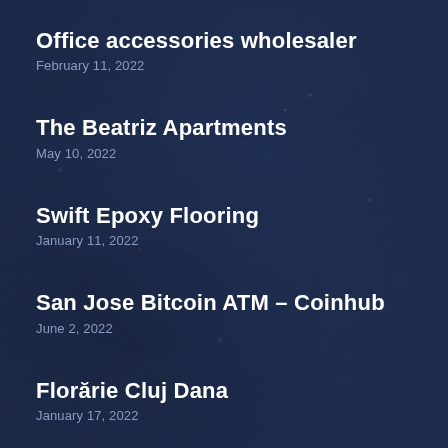Office accessories wholesaler
February 11, 2022
The Beatriz Apartments
May 10, 2022
Swift Epoxy Flooring
January 11, 2022
San Jose Bitcoin ATM – Coinhub
June 2, 2022
Florărie Cluj Dana
January 17, 2022